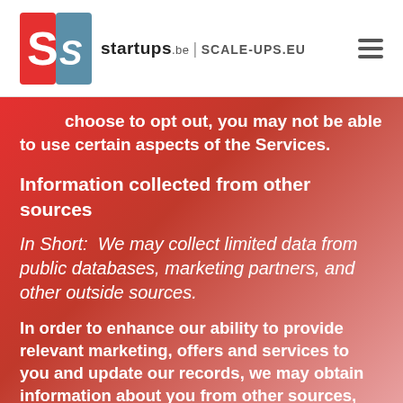startups.be | SCALE-UPS.EU
choose to opt out, you may not be able to use certain aspects of the Services.
Information collected from other sources
In Short:  We may collect limited data from public databases, marketing partners, and other outside sources.
In order to enhance our ability to provide relevant marketing, offers and services to you and update our records, we may obtain information about you from other sources, such as public databases, joint marketing partners, affiliate programs, data providers, as well as from other third parties. This information includes mailing addresses, job titles, email addresses, phone numbers, intent data (or user behavior data), Internet Protocol (IP) addresses, social media profiles,